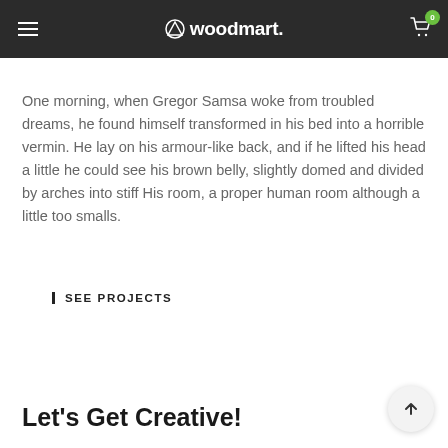woodmart.
One morning, when Gregor Samsa woke from troubled dreams, he found himself transformed in his bed into a horrible vermin. He lay on his armour-like back, and if he lifted his head a little he could see his brown belly, slightly domed and divided by arches into stiff His room, a proper human room although a little too smalls.
SEE PROJECTS
Let's Get Creative!